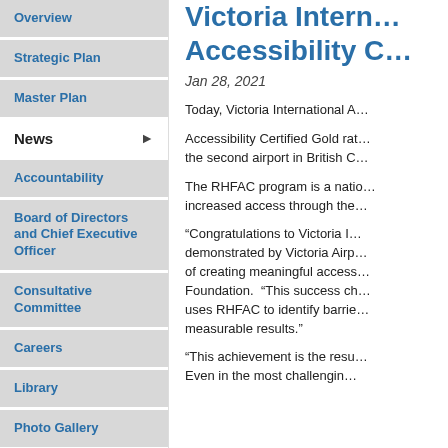Overview
Strategic Plan
Master Plan
News
Accountability
Board of Directors and Chief Executive Officer
Consultative Committee
Careers
Library
Photo Gallery
Rates and Fees
Facts and Stats
Sustainability Plan
Victoria International Airport Accessibility C…
Jan 28, 2021
Today, Victoria International A…
Accessibility Certified Gold rat… the second airport in British C…
The RHFAC program is a natio… increased access through the…
“Congratulations to Victoria I… demonstrated by Victoria Airp… of creating meaningful access… Foundation.  “This success ch… uses RHFAC to identify barrie… measurable results.”
“This achievement is the resu… Even in the most challengin…